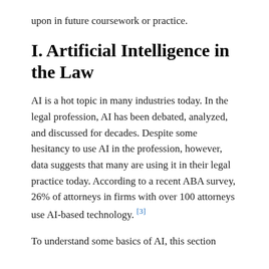upon in future coursework or practice.
I. Artificial Intelligence in the Law
AI is a hot topic in many industries today. In the legal profession, AI has been debated, analyzed, and discussed for decades. Despite some hesitancy to use AI in the profession, however, data suggests that many are using it in their legal practice today. According to a recent ABA survey, 26% of attorneys in firms with over 100 attorneys use AI-based technology. [3]
To understand some basics of AI, this section